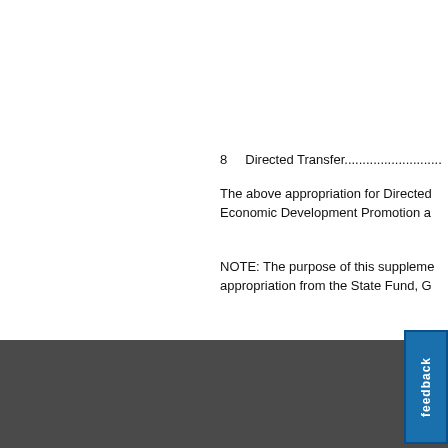8    Directed Transfer.............................
The above appropriation for Directed Economic Development Promotion a
NOTE: The purpose of this supplement appropriation from the State Fund, G
LegiScan is an impartial and nonpartisan legis Contact U